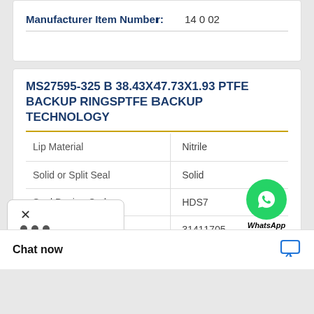| Manufacturer Item Number: | 14002 |
MS27595-325 B 38.43X47.73X1.93 PTFE BACKUP RINGSPTFE BACKUP TECHNOLOGY
| Lip Material | Nitrile |
| Solid or Split Seal | Solid |
| Seal Design Code | HDS7 |
| UNSPSC | 31411705 |
|  | 1.75 Inch / 552.45 |